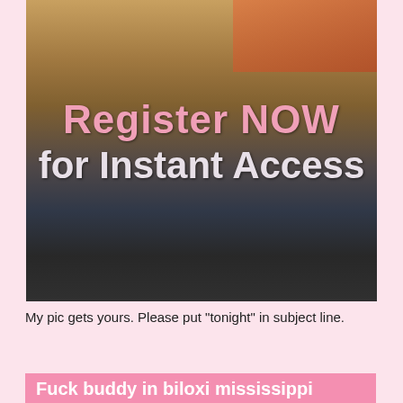[Figure (photo): A promotional image with overlay text 'Register NOW for Instant Access' on a dark background photo]
My pic gets yours. Please put "tonight" in subject line.
Fuck buddy in biloxi mississippi